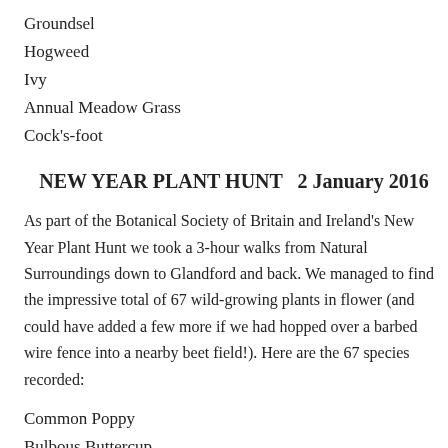Groundsel
Hogweed
Ivy
Annual Meadow Grass
Cock's-foot
NEW YEAR PLANT HUNT   2 January 2016
As part of the Botanical Society of Britain and Ireland's New Year Plant Hunt we took a 3-hour walks from Natural Surroundings down to Glandford and back. We managed to find the impressive total of 67 wild-growing plants in flower (and could have added a few more if we had hopped over a barbed wire fence into a nearby beet field!). Here are the 67 species recorded:
Common Poppy
Bulbous Buttercup